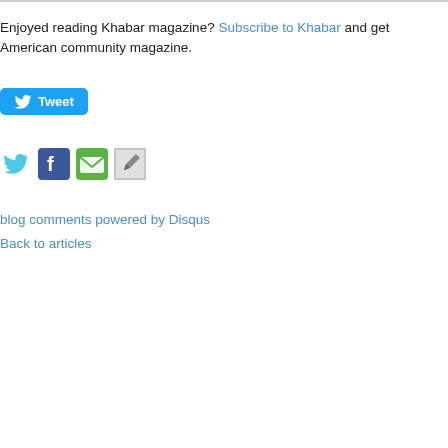Enjoyed reading Khabar magazine? Subscribe to Khabar and get American community magazine.
[Figure (other): Tweet button - blue rounded rectangle with Twitter bird icon and text 'Tweet']
[Figure (other): Social sharing icons: Twitter (cyan bird), Facebook (blue f), green email icon, gray/white icon]
blog comments powered by Disqus
Back to articles